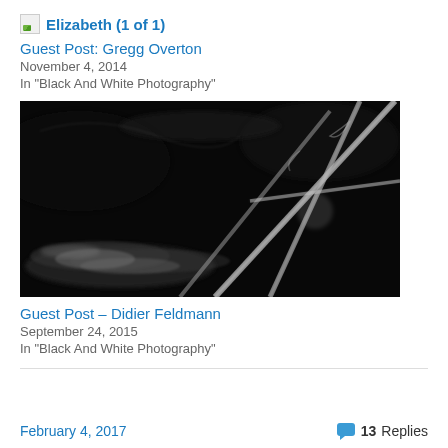Elizabeth (1 of 1)
Guest Post: Gregg Overton
November 4, 2014
In "Black And White Photography"
[Figure (photo): Black and white photograph showing aerial contrails or bare tree branches crossing in an X pattern against a dark sky, with wispy white streaks]
Guest Post – Didier Feldmann
September 24, 2015
In "Black And White Photography"
February 4, 2017   13 Replies